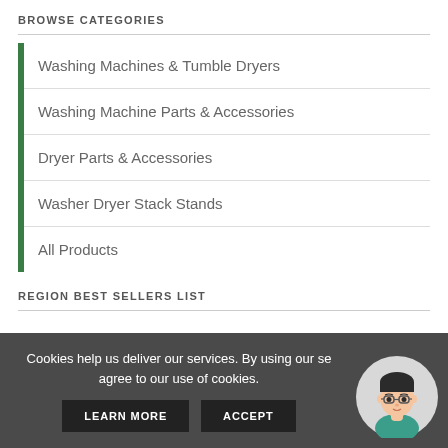BROWSE CATEGORIES
Washing Machines & Tumble Dryers
Washing Machine Parts & Accessories
Dryer Parts & Accessories
Washer Dryer Stack Stands
All Products
REGION BEST SELLERS LIST
Cookies help us deliver our services. By using our services, you agree to our use of cookies.
LEARN MORE
ACCEPT